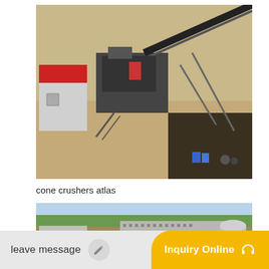[Figure (photo): Aerial view of a mobile crusher plant with a red-roofed building on the left, conveyor belts, metal structures, and machinery on a sandy/dirt surface.]
cone crushers atlas
[Figure (photo): Aerial view of a construction or mining site with concrete structures, large flat panels, a cylindrical tank, and mounds of dirt/soil with green vegetation in the background.]
leave message
Inquiry Online